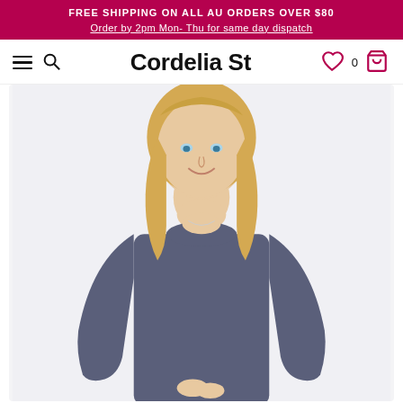FREE SHIPPING ON ALL AU ORDERS OVER $80
Order by 2pm Mon- Thu for same day dispatch
Cordelia St
[Figure (photo): A smiling blonde woman wearing a navy/slate blue long-sleeve crewneck top, photographed against a white/light background from the waist up.]